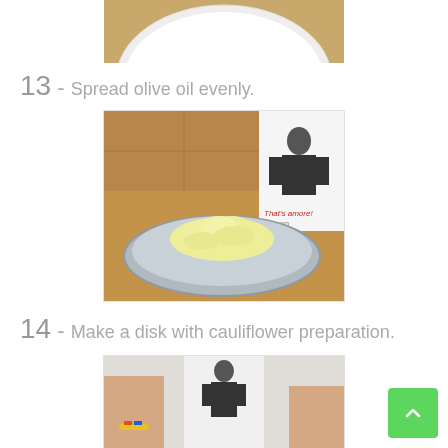[Figure (photo): Top portion of a white ceramic plate on a wooden surface, cropped at top of page]
13 - Spread olive oil evenly.
[Figure (photo): A round metal baking pan with a mound of pale yellow cauliflower preparation, on a wooden table. In the background a white apron with a printed figure and text reading 'That's amore! .com']
14 - Make a disk with cauliflower preparation.
[Figure (photo): Partial view of hands/wrists near a white apron with printed figure, cauliflower preparation visible, image cropped at bottom of page]